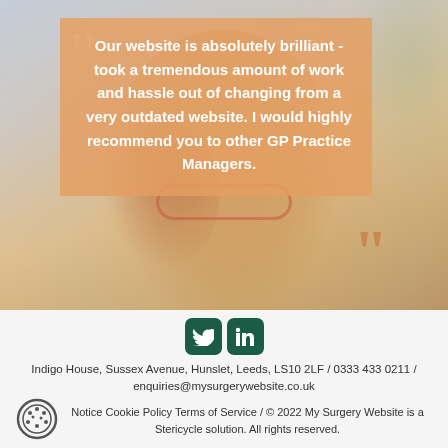[Figure (photo): Photo of a smiling woman with red-framed glasses and colorful hair in the wind, with a warm outdoor background. An orange semi-transparent quote box overlays the top portion with large decorative quotation marks.]
Our website is absolutely brilliant - took a tremendous amount of work and hassle out of changing from a very outdated website. I would highly recommend you to other GP Practice Managers.
[Figure (logo): Twitter bird icon and LinkedIn 'in' icon, both on dark green rounded square backgrounds.]
Indigo House, Sussex Avenue, Hunslet, Leeds, LS10 2LF / 0333 433 0211 / enquiries@mysurgerywebsite.co.uk
Notice Cookie Policy Terms of Service / © 2022 My Surgery Website is a Stericycle solution. All rights reserved.